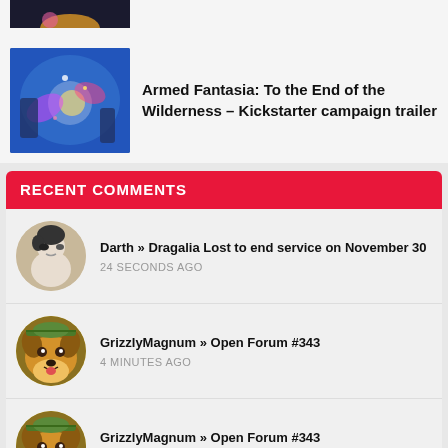[Figure (screenshot): Partial top image snippet visible at top of page]
[Figure (photo): Armed Fantasia game screenshot with colorful battle scene]
Armed Fantasia: To the End of the Wilderness – Kickstarter campaign trailer
RECENT COMMENTS
[Figure (photo): Avatar of Darth user - illustrated character]
Darth » Dragalia Lost to end service on November 30
24 SECONDS AGO
[Figure (photo): Avatar of GrizzlyMagnum user - corgi dog photo]
GrizzlyMagnum » Open Forum #343
4 MINUTES AGO
[Figure (photo): Avatar of GrizzlyMagnum user - corgi dog photo]
GrizzlyMagnum » Open Forum #343
5 MINUTES AGO